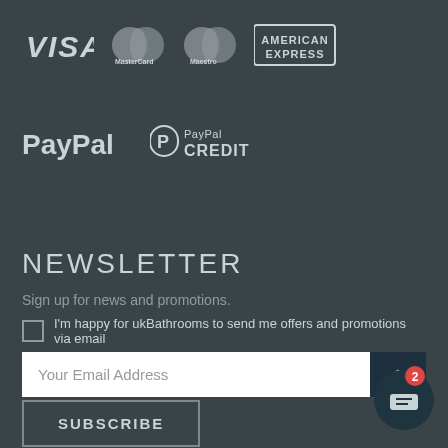[Figure (logo): Payment method logos: VISA, MasterCard, Maestro, American Express, PayPal, PayPal CREDIT]
NEWSLETTER
Sign up for news and promotions.
I'm happy for ukBathrooms to send me offers and promotions via email
Your Email Address
SUBSCRIBE